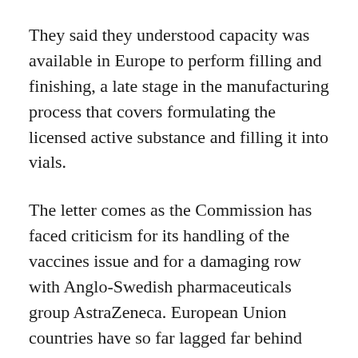They said they understood capacity was available in Europe to perform filling and finishing, a late stage in the manufacturing process that covers formulating the licensed active substance and filling it into vials.
The letter comes as the Commission has faced criticism for its handling of the vaccines issue and for a damaging row with Anglo-Swedish pharmaceuticals group AstraZeneca. European Union countries have so far lagged far behind others such as Israel, Britain and the United States in rolling out vaccines.
Describing Johnson & Johnson’s single-dose shot as a “potential game changer”, they said it was important to